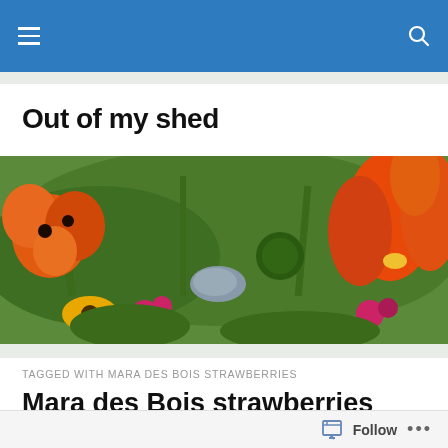Navigation bar with hamburger menu and search icon
Out of my shed
[Figure (photo): Wide banner photograph of a garden with orange poppies, orange tulips, yellow rudbeckia, pink flowers, and green foliage]
TAGGED WITH MARA DES BOIS STRAWBERRIES
Mara des Bois strawberries
[Figure (photo): Partial bottom view of an article photo showing green plant leaves]
Follow ...